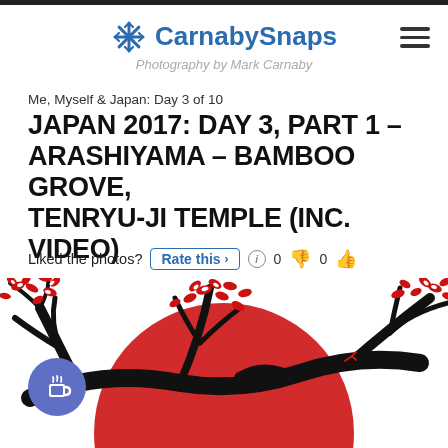CarnabySnaps — Photography by Mark Carnaby
Me, Myself & Japan: Day 3 of 10
JAPAN 2017: DAY 3, PART 1 – ARASHIYAMA – BAMBOO GROVE, TENRYU-JI TEMPLE (INC. VIDEO)
Liked the photos? Rate this > (i) 0 👎 0 👍
[Figure (illustration): Japanese illustration with red circle (sun), black cherry blossom branches with red and white flowers, on a white background. A blue circular coffee button is overlaid in the lower left.]